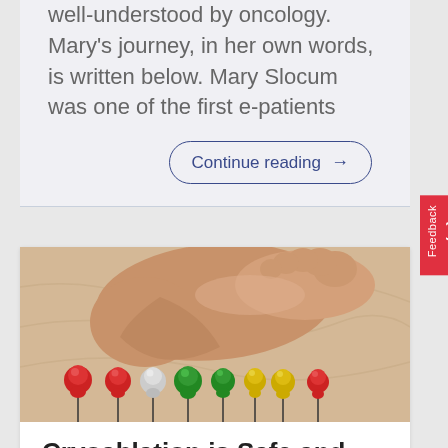well-understood by oncology. Mary's journey, in her own words, is written below. Mary Slocum was one of the first e-patients
Continue reading →
[Figure (photo): Photo of a human foot sole viewed from below, hovering above a row of colorful push pins (red, red, white, green, green, yellow, yellow, red) on a textured beige surface]
Cryoablation is Safe and Effective